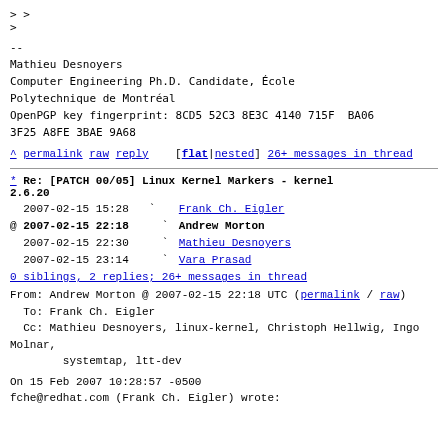> >
>
--
Mathieu Desnoyers
Computer Engineering Ph.D. Candidate, École
Polytechnique de Montréal
OpenPGP key fingerprint: 8CD5 52C3 8E3C 4140 715F  BA06
3F25 A8FE 3BAE 9A68
^ permalink raw reply    [flat|nested] 26+ messages in thread
* Re: [PATCH 00/05] Linux Kernel Markers - kernel 2.6.20
  2007-02-15 15:28    ` Frank Ch. Eigler
@ 2007-02-15 22:18      ` Andrew Morton
  2007-02-15 22:30      ` Mathieu Desnoyers
  2007-02-15 23:14      ` Vara Prasad
  0 siblings, 2 replies; 26+ messages in thread
From: Andrew Morton @ 2007-02-15 22:18 UTC (permalink / raw)
To: Frank Ch. Eigler
Cc: Mathieu Desnoyers, linux-kernel, Christoph Hellwig, Ingo Molnar,
        systemtap, ltt-dev

On 15 Feb 2007 10:28:57 -0500
fche@redhat.com (Frank Ch. Eigler) wrote: